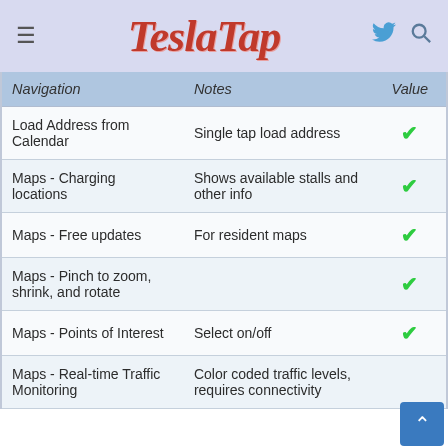TeslaTap
| Navigation | Notes | Value |
| --- | --- | --- |
| Load Address from Calendar | Single tap load address | ✓ |
| Maps - Charging locations | Shows available stalls and other info | ✓ |
| Maps - Free updates | For resident maps | ✓ |
| Maps - Pinch to zoom, shrink, and rotate |  | ✓ |
| Maps - Points of Interest | Select on/off | ✓ |
| Maps - Real-time Traffic Monitoring | Color coded traffic levels, requires connectivity | ✓ |